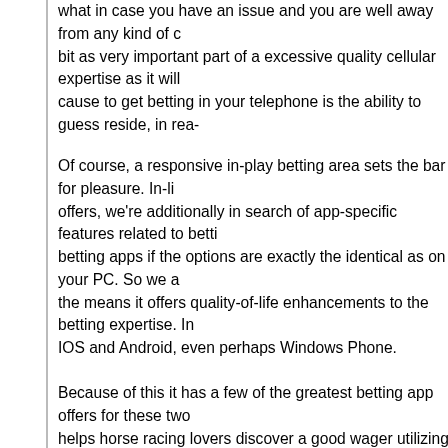what in case you have an issue and you are well away from any kind of c... bit as very important part of a excessive quality cellular expertise as it will ... cause to get betting in your telephone is the ability to guess reside, in rea...
Of course, a responsive in-play betting area sets the bar for pleasure. In-li... offers, we're additionally in search of app-specific features related to betti... betting apps if the options are exactly the identical as on your PC. So we a... the means it offers quality-of-life enhancements to the betting expertise. In... IOS and Android, even perhaps Windows Phone.
Because of this it has a few of the greatest betting app offers for these tw... helps horse racing lovers discover a good wager utilizing numerous filters ... The app additionally helps reside streams of UK and Irish horse races alo... guaranteed, on these races. Apart from these features, the BetVictor app a... service, and it supports the option of locking your guess winnings or losse...
Even when you just have to run to the shop or go to the lavatory, you won... mobile betting apps. At first glance, sports betting apps are the identical as... differences. In this text, we'll concentrate on some nice benefits of betting ... overall betting app, bet365 still comes out on prime in our evaluations des... small points. However, Paddy Power and William Hill are also highly recom... promotions for their clients such as value boosts, a reimbursement specia... evaluations of our high rated betting apps earlier than you choose to dow...